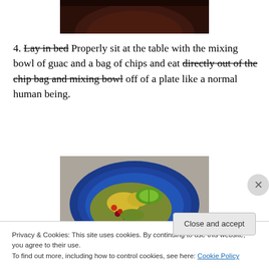[Figure (photo): Top portion of a dark reddish-brown bowl, cropped, on white background]
4. Lay in bed Properly sit at the table with the mixing bowl of guac and a bag of chips and eat directly out of the chip bag and mixing bowl off of a plate like a normal human being.
[Figure (photo): A blue ceramic plate/bowl containing a colorful guacamole or salsa mixture with corn, vegetables, and a lime wedge on top, on a granite-like surface]
Privacy & Cookies: This site uses cookies. By continuing to use this website, you agree to their use.
To find out more, including how to control cookies, see here: Cookie Policy
Close and accept